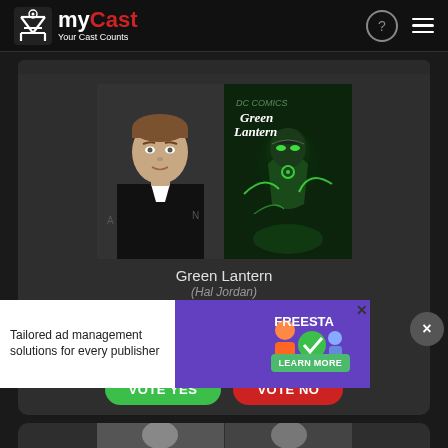myCast — Your Cast Counts
[Figure (screenshot): Actor photo of Liam Hemsworth in a black suit with white collar, headshot]
[Figure (screenshot): Green Lantern movie poster showing armored figure with green energy glow and Green Lantern logo text]
Green Lantern
(Hal Jordan)
in
Green Lantern
16    3
VOTE YES    VOTE NO
[Figure (screenshot): Advertisement banner: Tailored ad management solutions for every publisher — Freesta Learn More]